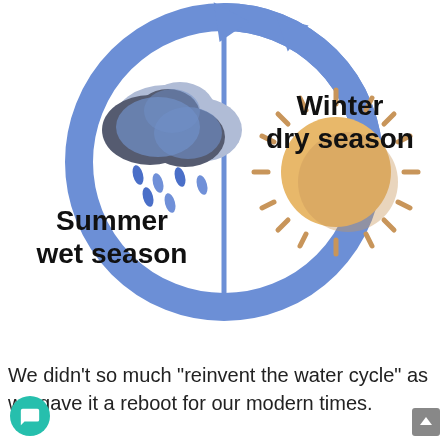[Figure (infographic): Circular seasonal cycle diagram divided into two halves by a vertical line. Left half shows a rain cloud icon with raindrops and the text 'Summer wet season'. Right half shows a sun icon and the text 'Winter dry season'. A large blue circular arrow wraps around the outside of the circle indicating a repeating cycle.]
We didn't so much "reinvent the water cycle" as we gave it a reboot for our modern times.